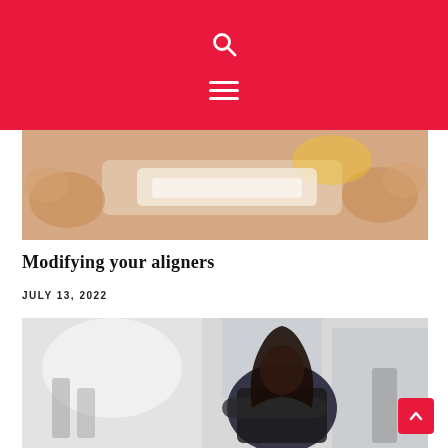Search and navigation menu header
[Figure (photo): Close-up photo of hands touching or adjusting dental aligners near a person's mouth]
Modifying your aligners
JULY 13, 2022
[Figure (photo): Photo of a young woman with long dark hair, arms crossed, wearing a black top, standing in what appears to be a salon or workshop setting]